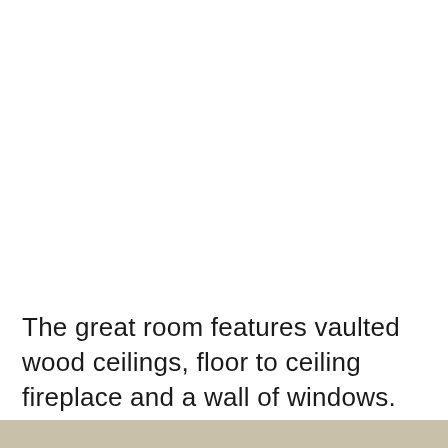The great room features vaulted wood ceilings, floor to ceiling fireplace and a wall of windows. Entertain in style in the spacious dining room.
[Figure (photo): Partial view of a room interior, tan/beige colored surface visible at the bottom of the page.]